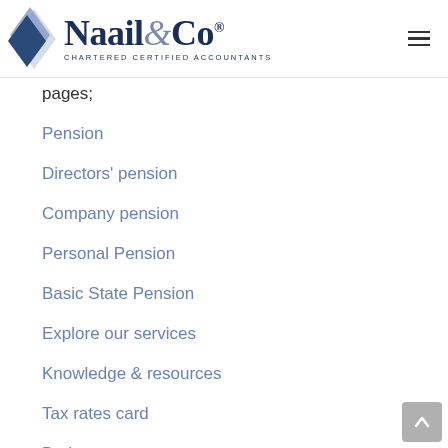Naail & Co – Chartered Certified Accountants
pages;
Pension
Directors' pension
Company pension
Personal Pension
Basic State Pension
Explore our services
Knowledge & resources
Tax rates card
Budget